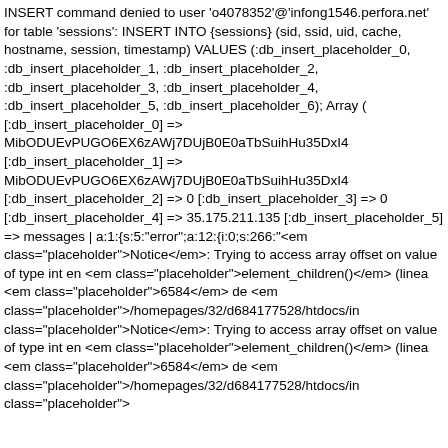INSERT command denied to user &#039;o4078352&#039;@&#039;infong1546.perfora.net&#039; for table &#039;sessions&#039;: INSERT INTO {sessions} (sid, ssid, uid, cache, hostname, session, timestamp) VALUES (:db_insert_placeholder_0, :db_insert_placeholder_1, :db_insert_placeholder_2, :db_insert_placeholder_3, :db_insert_placeholder_4, :db_insert_placeholder_5, :db_insert_placeholder_6); Array ( [:db_insert_placeholder_0] =&gt; MibODUEvPUGO6EX6zAWj7DUjB0E0aTbSuihHu35DxI4 [:db_insert_placeholder_1] =&gt; MibODUEvPUGO6EX6zAWj7DUjB0E0aTbSuihHu35DxI4 [:db_insert_placeholder_2] =&gt; 0 [:db_insert_placeholder_3] =&gt; 0 [:db_insert_placeholder_4] =&gt; 35.175.211.135 [:db_insert_placeholder_5] =&gt; messages | a:1:{s:5:&quot;error&quot;;a:12:{i:0;s:266:&quot;&lt;em class=&quot;placeholder&quot;&gt;Notice&lt;/em&gt;: Trying to access array offset on value of type int en &lt;em class=&quot;placeholder&quot;&gt;element_children()&lt;/em&gt; (linea &lt;em class=&quot;placeholder&quot;&gt;6584&lt;/em&gt; de &lt;em class=&quot;placeholder&quot;&gt;/homepages/32/d684177528/htdocs/in class=&quot;placeholder&quot;&gt;Notice&lt;/em&gt;: Trying to access array offset on value of type int en &lt;em class=&quot;placeholder&quot;&gt;element_children()&lt;/em&gt; (linea &lt;em class=&quot;placeholder&quot;&gt;6584&lt;/em&gt; de &lt;em class=&quot;placeholder&quot;&gt;/homepages/32/d684177528/htdocs/in class=&quot;placeholder&quot;&gt;